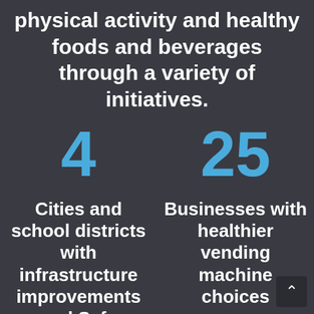physical activity and healthy foods and beverages through a variety of initiatives.
4
25
Cities and school districts with infrastructure improvements and Safe
Businesses with healthier vending machine choices